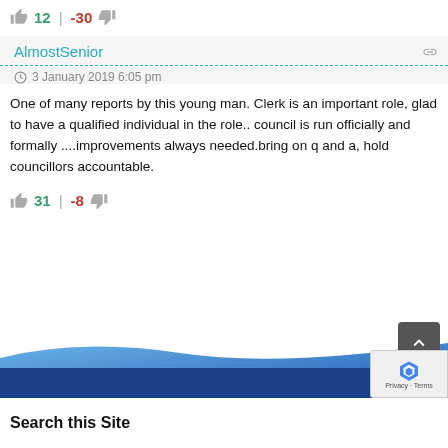👍 12 | -30 👎
AlmostSenior — 3 January 2019 6:05 pm
One of many reports by this young man. Clerk is an important role, glad to have a qualified individual in the role.. council is run officially and formally ....improvements always needed.bring on q and a, hold councillors accountable.
👍 31 | -8 👎
Search this Site